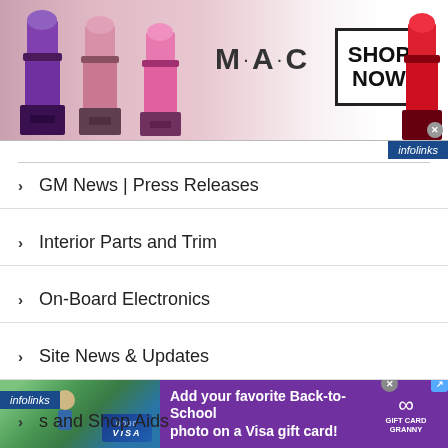[Figure (photo): MAC cosmetics banner ad showing lipsticks in purple, pink shades with MAC logo and SHOP NOW button, and a red lipstick on right edge]
[Figure (logo): infolinks badge in blue on top right]
GM News | Press Releases
Interior Parts and Trim
On-Board Electronics
Site News & Updates
Tires and Wheels
s and Shop Aids
[Figure (photo): Visa gift card Back-to-School advertisement with purple background, child photo on left, text: Add your favorite Back-to-School photo on a Visa gift card! Gift Card Granny logo on right]